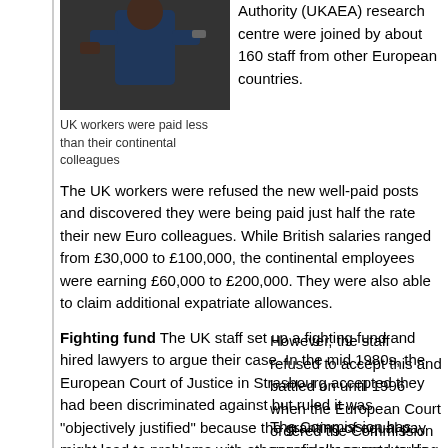[Figure (photo): A worker in blue clothing, upper body visible, appearing to handle equipment]
UK workers were paid less than their continental colleagues
Authority (UKAEA) research centre were joined by about 160 staff from other European countries.
The UK workers were refused the new well-paid posts and discovered they were being paid just half the rate their new Euro colleagues. While British salaries ranged from £30,000 to £100,000, the continental employees were earning £60,000 to £200,000. They were also able to claim additional expatriate allowances.
Fighting fund The UK staff set up a fighting fund and hired lawyers to argue their case. In the mid 1980s, the European Court of Justice in Strasbourg accepted they had been discriminated against but ruled it was "objectively justified" because the granting of equal pay might lead to problems with other employees not working on the nuclear fusion project.
However, the staff refused to accept this and battled on until 1996 when the European Court ordered the Commission to pay them compensation.
The Commission has now finally agreed to do this. A